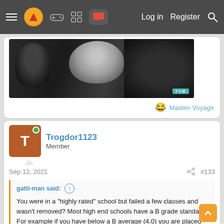Navigation bar with menu, logo, icons, Log in, Register, Search
[Figure (photo): Black and white photo of people with TCM badge watermark in bottom right]
😂 Maiden Voyage
Trogdor1123
Member
Sep 12, 2021   #133
gatti-man said: ↑

You were in a "highly rated" school but failed a few classes and wasn't removed? Most high end schools have a B grade standard. For example if you have below a B average (4.0) you are placed on scholastic probation then removed. Failing even 2 classes